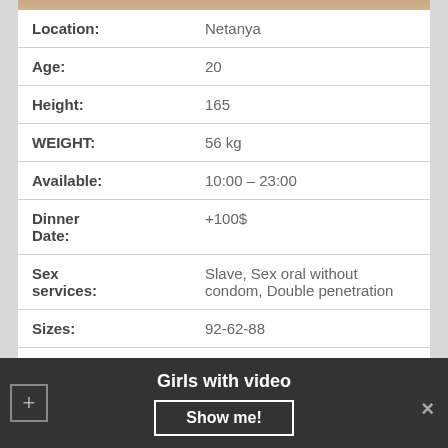| Field | Value |
| --- | --- |
| Location: | Netanya |
| Age: | 20 |
| Height: | 165 |
| WEIGHT: | 56 kg |
| Available: | 10:00 – 23:00 |
| Dinner Date: | +100$ |
| Sex services: | Slave, Sex oral without condom, Double penetration |
| Sizes: | 92-62-88 |
| One HOUR: | 150 DOLL |
Girls with video
Show me!